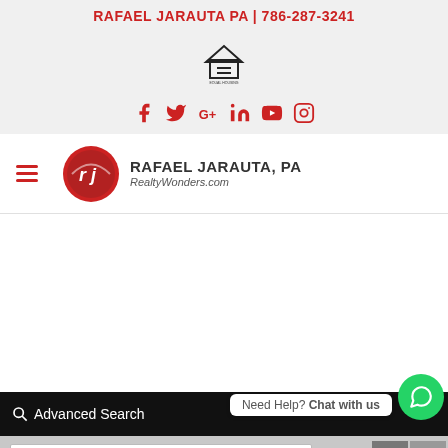RAFAEL JARAUTA PA | 786-287-3241
[Figure (logo): Equal Housing Opportunity logo — house outline with equal sign]
[Figure (infographic): Social media icons: Facebook, Twitter, Google+, LinkedIn, YouTube, Instagram — all in red]
[Figure (logo): Rafael Jarauta PA — RealtyWonders.com logo with red circular rj icon]
RAFAEL JARAUTA, PA
RealtyWonders.com
Advanced Search
Need Help? Chat with us